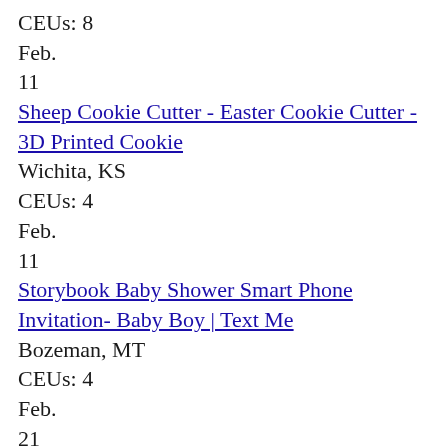CEUs: 8
Feb.
11
Sheep Cookie Cutter - Easter Cookie Cutter - 3D Printed Cookie
Wichita, KS
CEUs: 4
Feb.
11
Storybook Baby Shower Smart Phone Invitation- Baby Boy | Text Me
Bozeman, MT
CEUs: 4
Feb.
21
Puzzle Ring, Sterling Silver Ring, 925 Ring, 925 Sterling Silver
Nashville, TN
CEUs: 8
Feb.
21
Miniature Christmas Baby with Fox - Christmas Miniature Figurine
New Orleans, LA
CEUs: 8
Feb.
22